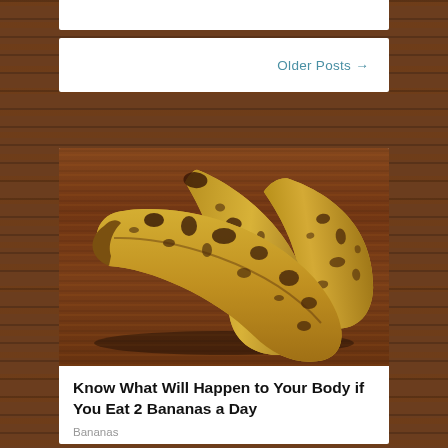Older Posts →
[Figure (photo): Three overripe bananas with brown spots lying on a wooden surface]
Know What Will Happen to Your Body if You Eat 2 Bananas a Day
Bananas